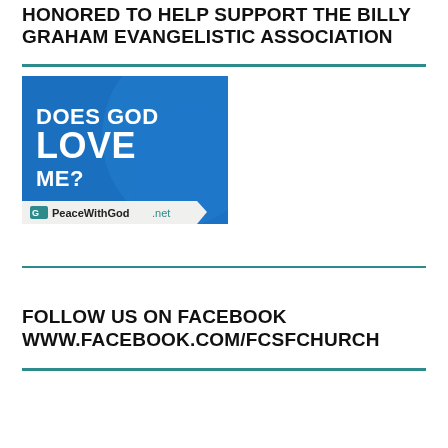HONORED TO HELP SUPPORT THE BILLY GRAHAM EVANGELISTIC ASSOCIATION
[Figure (illustration): Blue square advertisement image reading 'DOES GOD LOVE ME?' with PeaceWithGod.net branding at bottom]
FOLLOW US ON FACEBOOK WWW.FACEBOOK.COM/FCSFCHURCH